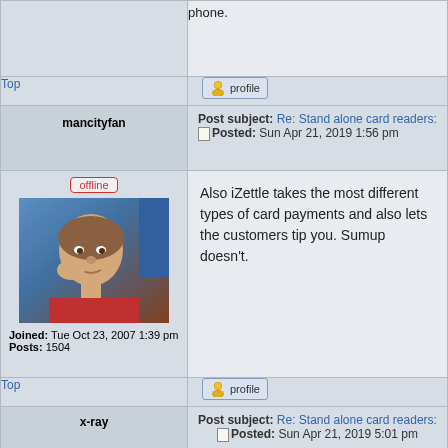phone.
Top
[Figure (other): Profile button with user icon]
Post subject: Re: Stand alone card readers:
Posted: Sun Apr 21, 2019 1:56 pm
mancityfan
offline
[Figure (photo): Photo of a man resting his chin on his hand, looking pensive]
Joined: Tue Oct 23, 2007 1:39 pm
Posts: 1504
Also iZettle takes the most different types of card payments and also lets the customers tip you. Sumup doesn't.
Top
[Figure (other): Profile button with user icon]
Post subject: Re: Stand alone card readers:
Posted: Sun Apr 21, 2019 5:01 pm
x-ray
offline
mancityfan wrote: